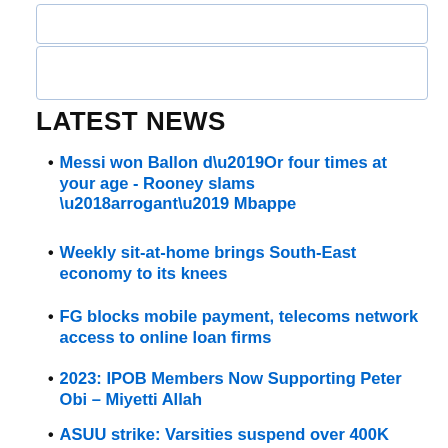LATEST NEWS
Messi won Ballon d’Or four times at your age - Rooney slams ‘arrogant’ Mbappe
Weekly sit-at-home brings South-East economy to its knees
FG blocks mobile payment, telecoms network access to online loan firms
2023: IPOB Members Now Supporting Peter Obi – Miyetti Allah
ASUU strike: Varsities suspend over 400K students’ admission - Set to